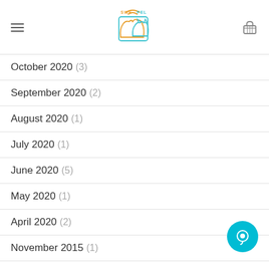SweePel logo with hamburger menu and basket icon
October 2020 (3)
September 2020 (2)
August 2020 (1)
July 2020 (1)
June 2020 (5)
May 2020 (1)
April 2020 (2)
November 2015 (1)
October 2015 (2)
January 2014 (1)